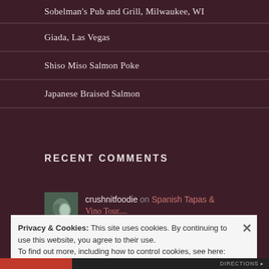Sobelman's Pub and Grill, Milwaukee, WI
Giada, Las Vegas
Shiso Miso Salmon Poke
Japanese Braised Salmon
RECENT COMMENTS
crushnitfoodie on Spanish Tapas & Vino Tour....
Privacy & Cookies: This site uses cookies. By continuing to use this website, you agree to their use.
To find out more, including how to control cookies, see here: Cookie Policy
Close and accept